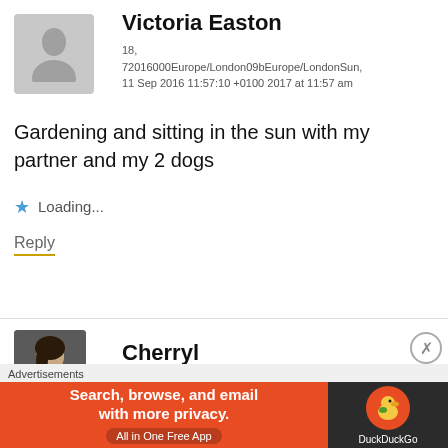[Figure (illustration): Gray silhouette avatar placeholder image for user Victoria Easton]
Victoria Easton
18,
72016000Europe/London09bEurope/LondonSun, 11 Sep 2016 11:57:10 +0100 2017 at 11:57 am
Gardening and sitting in the sun with my partner and my 2 dogs
★ Loading...
Reply
[Figure (photo): Profile photo of Cherryl, a person with dark hair]
Cherryl
10
Advertisements
[Figure (illustration): DuckDuckGo advertisement banner: Search, browse, and email with more privacy. All in One Free App]